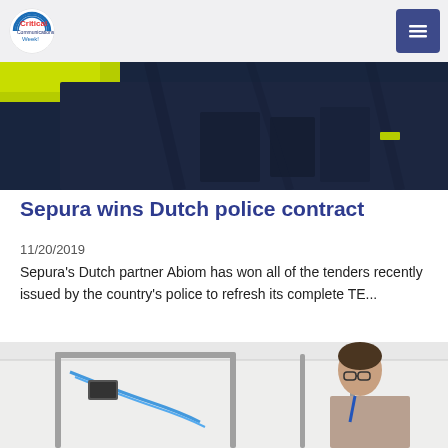Critical Communications Week
[Figure (photo): Close-up photo of a person wearing dark navy tactical/police clothing with equipment pouches, with a yellow-green hi-vis element visible at top left.]
Sepura wins Dutch police contract
11/20/2019
Sepura's Dutch partner Abiom has won all of the tenders recently issued by the country's police to refresh its complete TE...
[Figure (photo): Photo of a man with glasses wearing a checkered shirt and blue lanyard, working with laboratory or industrial equipment — metal frames and blue pneumatic tubes in a white room.]